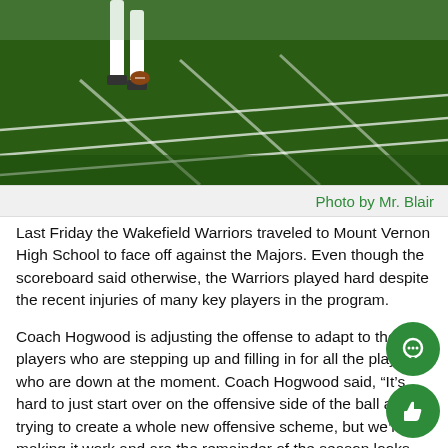[Figure (photo): Football field photograph showing a player's legs in white uniform on green field with yard line markings]
Photo by Mr. Blair
Last Friday the Wakefield Warriors traveled to Mount Vernon High School to face off against the Majors. Even though the scoreboard said otherwise, the Warriors played hard despite the recent injuries of many key players in the program.
Coach Hogwood is adjusting the offense to adapt to the new players who are stepping up and filling in for all the players who are down at the moment. Coach Hogwood said, “It’s hard to just start over on the offensive side of the ball and trying to create a whole new offensive scheme, but we’re making it work and are the remainder of the season looks bright.”
In the first quarter, the Majors came out with a strong offense but the Warriors defense stepped up and showed what they’re made of. At the end of the first quarter, Mount Vernon had a high...